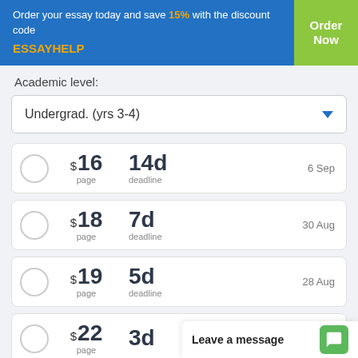Order your essay today and save 15% with the discount code ESSAYHELP
Academic level:
Undergrad. (yrs 3-4)
$16 page | 14d deadline | 6 Sep
$18 page | 7d deadline | 30 Aug
$19 page | 5d deadline | 28 Aug
$22 page | 3d deadline | 26 Aug
Leave a message